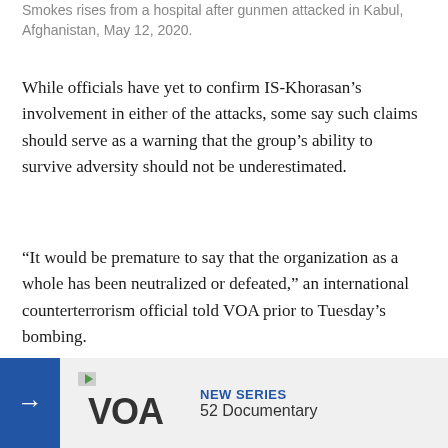Smokes rises from a hospital after gunmen attacked in Kabul, Afghanistan, May 12, 2020.
While officials have yet to confirm IS-Khorasan’s involvement in either of the attacks, some say such claims should serve as a warning that the group’s ability to survive adversity should not be underestimated.
“It would be premature to say that the organization as a whole has been neutralized or defeated,” an international counterterrorism official told VOA prior to Tuesday’s bombing.
“The history of ISIL-Khorasan up to now is that they have been reasonably resilient,” he added, speaking on the condition… nature of the i…
[Figure (logo): VOA logo with NEW SERIES and 52 Documentary text in a banner overlay at the bottom of the page]